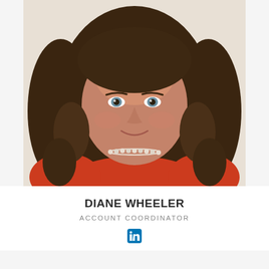[Figure (photo): Professional headshot of Diane Wheeler, a woman with long curly brown hair and blue eyes, wearing a red top and pearl necklace, smiling against a light background]
DIANE WHEELER
ACCOUNT COORDINATOR
[Figure (logo): LinkedIn icon]